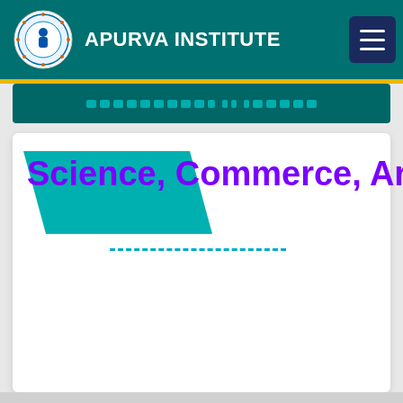APURVA INSTITUTE
[Figure (screenshot): Website screenshot of Apurva Institute educational portal showing navigation header with logo and institute name, a teal content banner, and a main white content card featuring 'Science, Commerce, Art' text in bold purple on a teal background shape]
Science, Commerce, Art